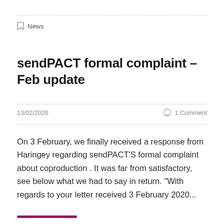News
sendPACT formal complaint – Feb update
13/02/2020    1 Comment
On 3 February, we finally received a response from Haringey regarding sendPACT'S formal complaint about coproduction . It was far from satisfactory, see below what we had to say in return. "With regards to your letter received 3 February 2020...